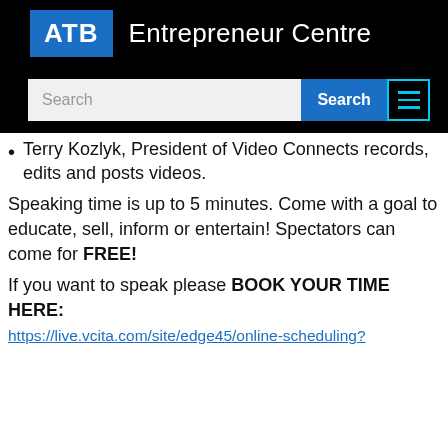ATB Entrepreneur Centre
[Figure (screenshot): Search bar with text input field and blue Search button]
Terry Kozlyk, President of Video Connects records, edits and posts videos.
Speaking time is up to 5 minutes. Come with a goal to educate, sell, inform or entertain! Spectators can come for FREE!
If you want to speak please BOOK YOUR TIME HERE:
https://live.vcita.com/site/edge45/online-scheduling?